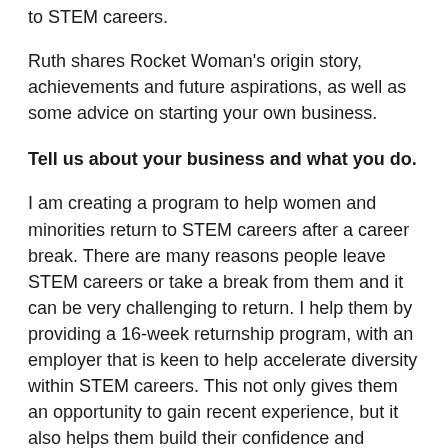to STEM careers.
Ruth shares Rocket Woman's origin story, achievements and future aspirations, as well as some advice on starting your own business.
Tell us about your business and what you do.
I am creating a program to help women and minorities return to STEM careers after a career break. There are many reasons people leave STEM careers or take a break from them and it can be very challenging to return. I help them by providing a 16-week returnship program, with an employer that is keen to help accelerate diversity within STEM careers. This not only gives them an opportunity to gain recent experience, but it also helps them build their confidence and develop an idea of what their areas of interest are.